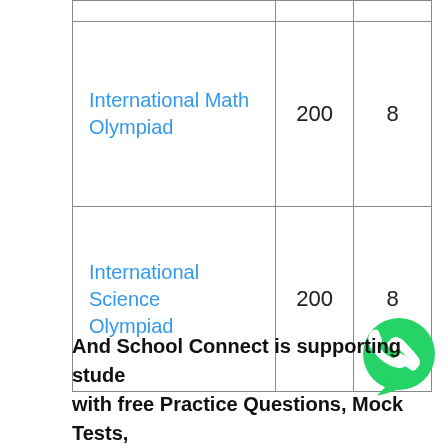|  |  |  |
| --- | --- | --- |
| International Math Olympiad | 200 | 8 |
| International Science Olympiad | 200 | 8 |
And School Connect is supporting students with free Practice Questions, Mock Tests, Learning Notes and linked videos.